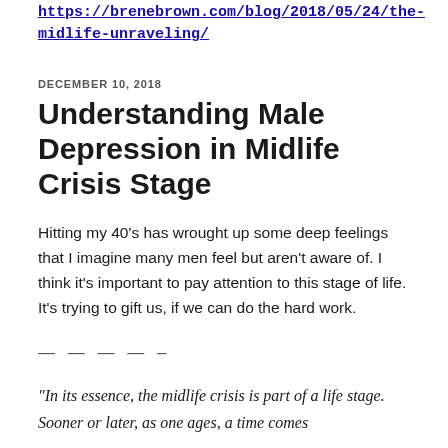https://brenebrown.com/blog/2018/05/24/the-midlife-unraveling/
DECEMBER 10, 2018
Understanding Male Depression in Midlife Crisis Stage
Hitting my 40's has wrought up some deep feelings that I imagine many men feel but aren't aware of. I think it's important to pay attention to this stage of life. It's trying to gift us, if we can do the hard work.
— — — — –
“In its essence, the midlife crisis is part of a life stage. Sooner or later, as one ages, a time comes